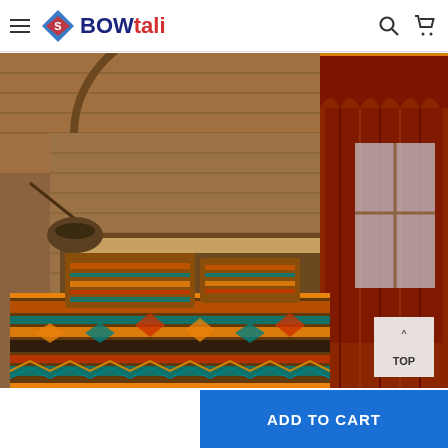BOWtali — navigation header with hamburger menu, logo, search and cart icons
[Figure (photo): Product photo of a southwestern/Native American style bedding set with colorful Aztec geometric patterns in orange, teal, red, and black, displayed on a bed in a rustic wooden cabin bedroom setting with matching curtains on the right side. A TOP button is visible in the bottom-right corner of the image.]
ADD TO CART